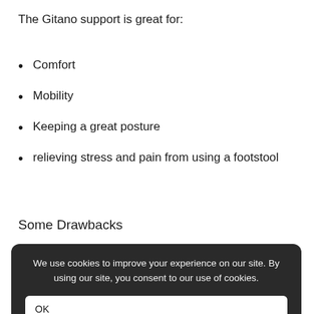The Gitano support is great for:
Comfort
Mobility
Keeping a great posture
relieving stress and pain from using a footstool
Some Drawbacks
We use cookies to improve your experience on our site. By using our site, you consent to our use of cookies.
OK